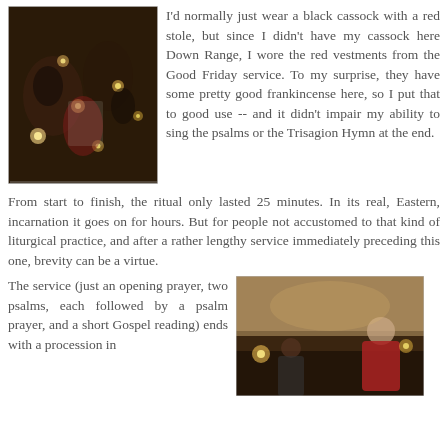[Figure (photo): Dark photo of people gathered with candles glowing in a dimly lit room, religious service setting]
I'd normally just wear a black cassock with a red stole, but since I didn't have my cassock here Down Range, I wore the red vestments from the Good Friday service. To my surprise, they have some pretty good frankincense here, so I put that to good use -- and it didn't impair my ability to sing the psalms or the Trisagion Hymn at the end.
From start to finish, the ritual only lasted 25 minutes. In its real, Eastern, incarnation it goes on for hours. But for people not accustomed to that kind of liturgical practice, and after a rather lengthy service immediately preceding this one, brevity can be a virtue.
The service (just an opening prayer, two psalms, each followed by a psalm prayer, and a short Gospel reading) ends with a procession in
[Figure (photo): Dark indoor photo showing a person in red vestments standing near candles during a religious service]